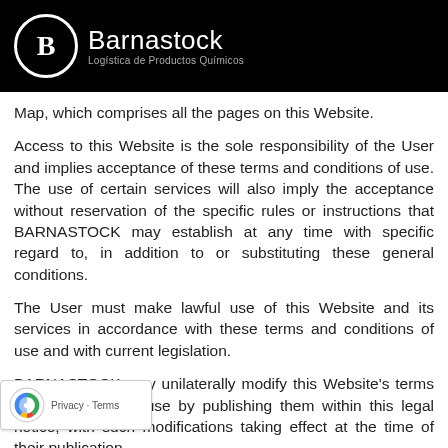[Figure (logo): Barnastock logo — circular B icon in white on black background with company name 'Barnastock' and tagline 'Logística de Productos Químicos']
Map, which comprises all the pages on this Website.
Access to this Website is the sole responsibility of the User and implies acceptance of these terms and conditions of use. The use of certain services will also imply the acceptance without reservation of the specific rules or instructions that BARNASTOCK may establish at any time with specific regard to, in addition to or substituting these general conditions.
The User must make lawful use of this Website and its services in accordance with these terms and conditions of use and with current legislation.
BARNASTOCK may unilaterally modify this Website's terms and conditions of use by publishing them within this legal notice, with such modifications taking effect at the time of their publication.
[Figure (logo): reCAPTCHA badge with Google reCAPTCHA icon and 'Privacy · Terms' text]